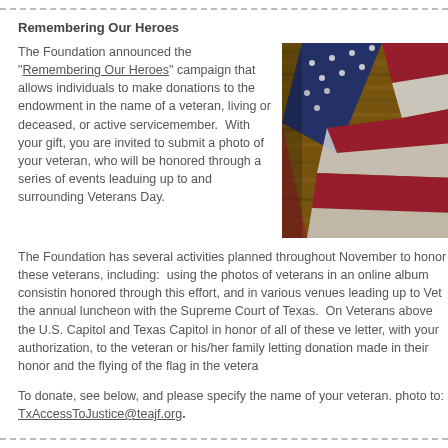Remembering Our Heroes
The Foundation announced the "Remembering Our Heroes" campaign that allows individuals to make donations to the endowment in the name of a veteran, living or deceased, or active servicemember. With your gift, you are invited to submit a photo of your veteran, who will be honored through a series of events leaduing up to and surrounding Veterans Day.
[Figure (photo): American flag draped over a wooden surface, showing stars and red/white stripes.]
The Foundation has several activities planned throughout November to honor these veterans, including: using the photos of veterans in an online album consisting honored through this effort, and in various venues leading up to Vet the annual luncheon with the Supreme Court of Texas. On Veterans above the U.S. Capitol and Texas Capitol in honor of all of these ve letter, with your authorization, to the veteran or his/her family letting donation made in their honor and the flying of the flag in the vetera
To donate, see below, and please specify the name of your veteran. photo to: TxAccessToJustice@teajf.org.